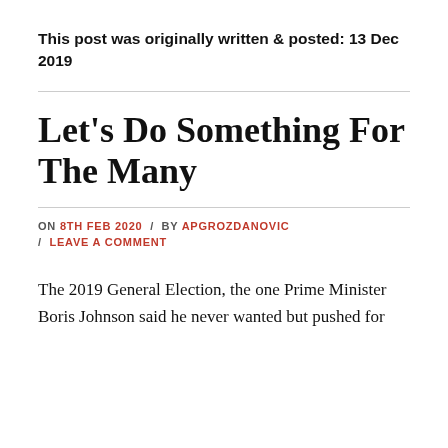This post was originally written & posted: 13 Dec 2019
Let's Do Something For The Many
ON 8TH FEB 2020 / BY APGROZDANOVIC / LEAVE A COMMENT
The 2019 General Election, the one Prime Minister Boris Johnson said he never wanted but pushed for